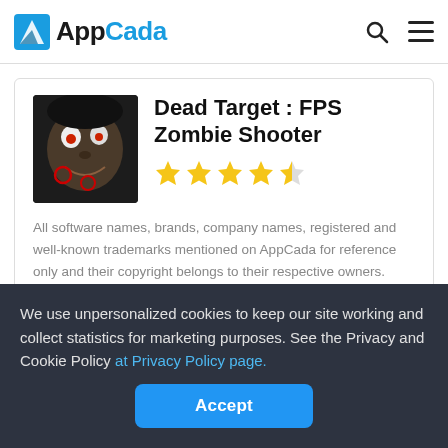AppCada
Dead Target : FPS Zombie Shooter
[Figure (photo): Zombie face app icon thumbnail for Dead Target FPS Zombie Shooter]
All software names, brands, company names, registered and well-known trademarks mentioned on AppCada for reference only and their copyright belongs to their respective owners. AppCada claims no ownership, representation or development of apps and apps reviewed on this site. Please note: Users can download the app from the links following the Official Website and legal App Stores.
We use unpersonalized cookies to keep our site working and collect statistics for marketing purposes. See the Privacy and Cookie Policy at Privacy Policy page.